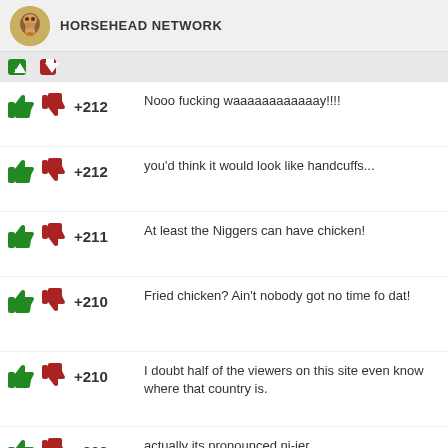HORSEHEAD NETWORK
+212  Nooo fucking waaaaaaaaaaaay!!!!
+212  you'd think it would look like handcuffs...
+211  At least the Niggers can have chicken!
+210  Fried chicken? Ain't nobody got no time fo dat!
+210  I doubt half of the viewers on this site even know where that country is.
+209  actually its pronounced ni-jer
+209  i wonder what they eat...